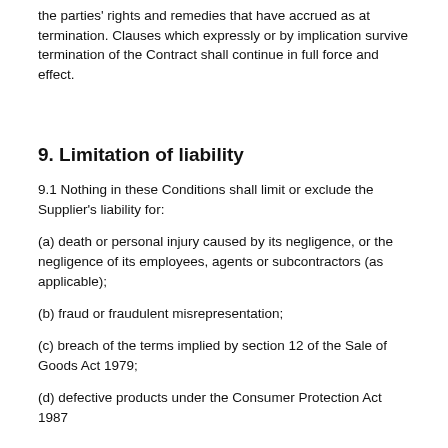the parties' rights and remedies that have accrued as at termination. Clauses which expressly or by implication survive termination of the Contract shall continue in full force and effect.
9. Limitation of liability
9.1 Nothing in these Conditions shall limit or exclude the Supplier's liability for:
(a) death or personal injury caused by its negligence, or the negligence of its employees, agents or subcontractors (as applicable);
(b) fraud or fraudulent misrepresentation;
(c) breach of the terms implied by section 12 of the Sale of Goods Act 1979;
(d) defective products under the Consumer Protection Act 1987...